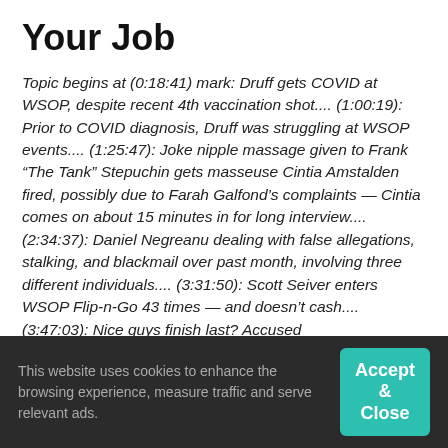Your Job
Topic begins at (0:18:41) mark: Druff gets COVID at WSOP, despite recent 4th vaccination shot.... (1:00:19): Prior to COVID diagnosis, Druff was struggling at WSOP events.... (1:25:47): Joke nipple massage given to Frank “The Tank” Stepuchin gets masseuse Cintia Amstalden fired, possibly due to Farah Galfond’s complaints — Cintia comes on about 15 minutes in for long interview.... (2:34:37): Daniel Negreanu dealing with false allegations, stalking, and blackmail over past month, involving three different individuals.... (3:31:50): Scott Seiver enters WSOP Flip-n-Go 43 times — and doesn’t cash.... (3:47:03): Nice guys finish last? Accused cheaters/scammers Ali Imsirovic, Jake Schindler, David “CSM” Misicowski, and Nicky Palma all make WSOP final tables.... (3:58:41): Alex Livingston loses bracelet 20
This website uses cookies to enhance the browsing experience, measure traffic and serve relevant ads.
Accept & Close